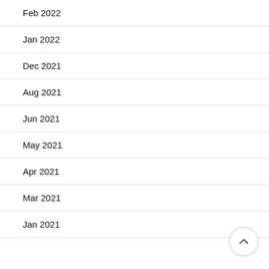Feb 2022
Jan 2022
Dec 2021
Aug 2021
Jun 2021
May 2021
Apr 2021
Mar 2021
Jan 2021
[Figure (other): Scroll-to-top circular button with upward chevron icon]